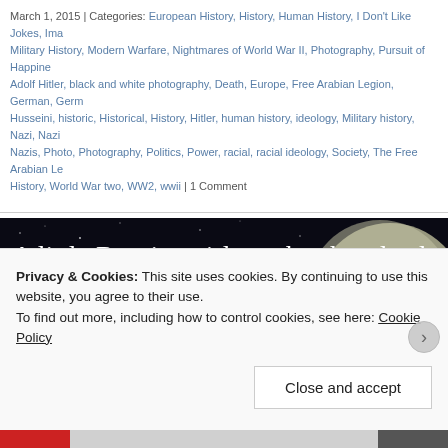March 1, 2015 | Categories: European History, History, Human History, I Don't Like Jokes, Images, Military History, Modern Warfare, Nightmares of World War II, Photography, Pursuit of Happiness, Adolf Hitler, black and white photography, Death, Europe, Free Arabian Legion, German, Germany, Husseini, historic, Historical, History, Hitler, human history, ideology, Military history, Nazi, Nazis, Nazis, Photo, Photography, Politics, Power, racial, racial ideology, Society, The Free Arabian Legion, World War History, World War two, WW2, wwii | 1 Comment
A little Russian girl touches her dead mother after the liberation of the Ozarichi concentration camp, March 1944
[Figure (photo): Black and white historical photograph strip showing bare trees, with a dark starry night sky background and a large moon]
Privacy & Cookies: This site uses cookies. By continuing to use this website, you agree to their use.
To find out more, including how to control cookies, see here: Cookie Policy